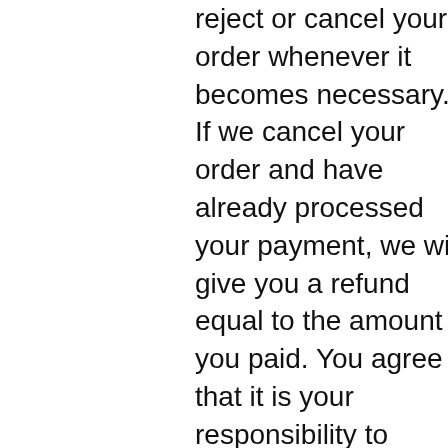reject or cancel your order whenever it becomes necessary. If we cancel your order and have already processed your payment, we will give you a refund equal to the amount you paid. You agree that it is your responsibility to monitor your payment instrument to verify receipt of any refund.
We accept the following payment methods: